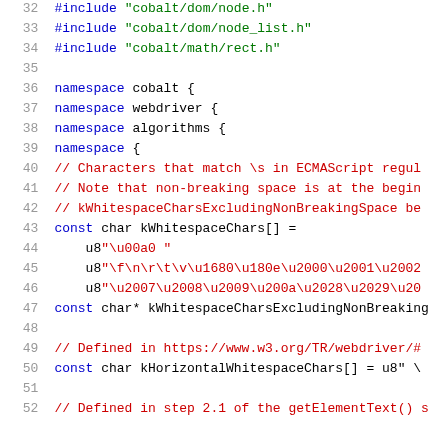Code listing lines 32-52 showing C++ source code with #include directives, namespace declarations, and const char array definitions for whitespace characters.